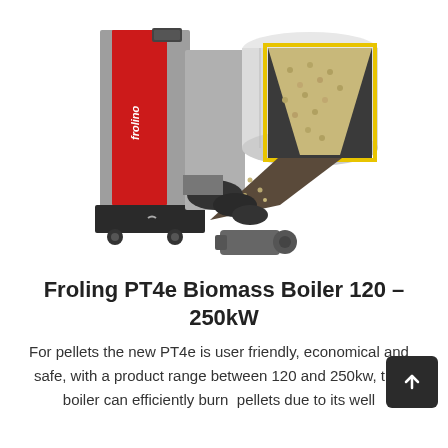[Figure (photo): Froling PT4e biomass boiler cutaway view showing pellet storage hopper (cylindrical white container with yellow-lined opening), pellet feed mechanism, red and grey boiler body with Froling branding, and screw conveyor system at the bottom. The cutaway reveals wood pellets filling the hopper and feeding into the combustion mechanism.]
Froling PT4e Biomass Boiler 120 – 250kW
For pellets the new PT4e is user friendly, economical and safe, with a product range between 120 and 250kw, this boiler can efficiently burn  pellets due to its well